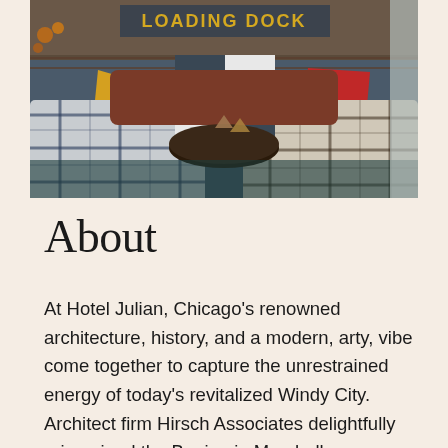[Figure (photo): Interior of Hotel Julian lounge area showing eclectic mix of plaid and checkered furniture, colorful throw pillows (yellow, red), a round dark coffee table with decorative objects, leather sofas, and a brick wall in the background with 'LOADING DOCK' signage]
About
At Hotel Julian, Chicago's renowned architecture, history, and a modern, arty, vibe come together to capture the unrestrained energy of today's revitalized Windy City. Architect firm Hirsch Associates delightfully reimagined the Benjamin Marshall-